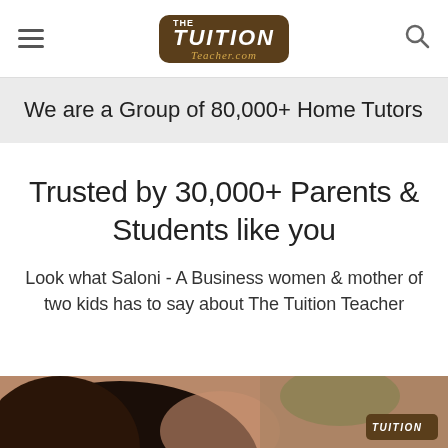The Tuition Teacher.com
We are a Group of 80,000+ Home Tutors
Trusted by 30,000+ Parents & Students like you
Look what Saloni - A Business women & mother of two kids has to say about The Tuition Teacher
[Figure (photo): Bottom portion of page showing a dark-haired person, partial view, with a small Tuition Teacher badge in the lower right corner]